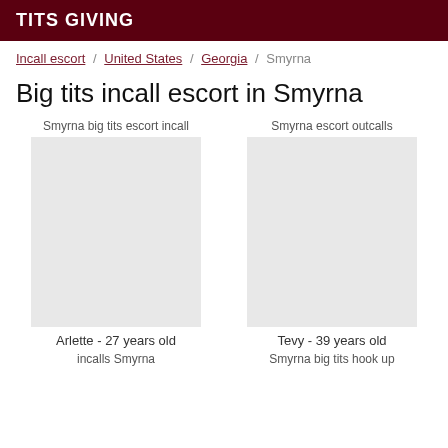TITS GIVING
Incall escort / United States / Georgia / Smyrna
Big tits incall escort in Smyrna
Smyrna big tits escort incall
Smyrna escort outcalls
Arlette - 27 years old
Tevy - 39 years old
incalls Smyrna
Smyrna big tits hook up